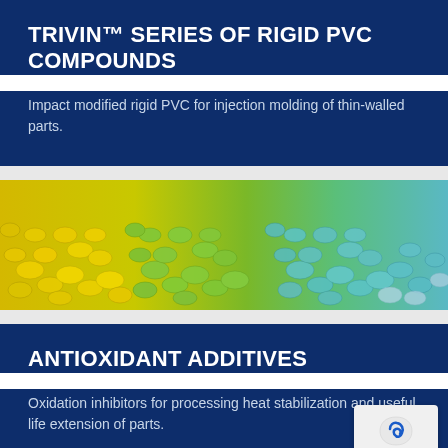TRIVIN™ SERIES OF RIGID PVC COMPOUNDS
Impact modified rigid PVC for injection molding of thin-walled parts.
[Figure (photo): Colorful plastic pellets/granules in yellow, green, and blue-teal colors arranged across a wide shot]
ANTIOXIDANT ADDITIVES
Oxidation inhibitors for processing heat stabilization and useful life extension of parts.